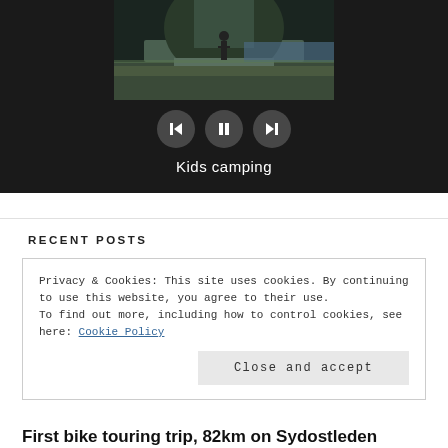[Figure (screenshot): A video/slideshow player with a dark background, showing a thumbnail of a child standing near water outdoors. Below the thumbnail are three circular control buttons (back, pause, forward). Below the controls the label 'Kids camping' appears in white text.]
RECENT POSTS
Privacy & Cookies: This site uses cookies. By continuing to use this website, you agree to their use.
To find out more, including how to control cookies, see here: Cookie Policy
Close and accept
First bike touring trip, 82km on Sydostleden